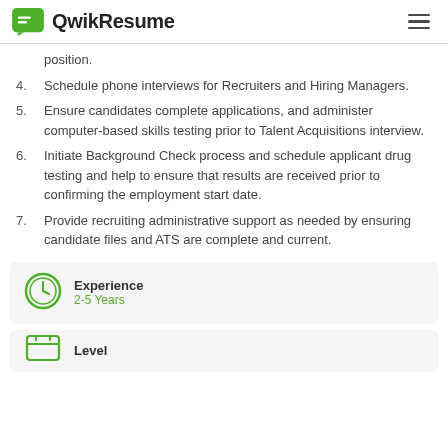QwikResume
position.
4. Schedule phone interviews for Recruiters and Hiring Managers.
5. Ensure candidates complete applications, and administer computer-based skills testing prior to Talent Acquisitions interview.
6. Initiate Background Check process and schedule applicant drug testing and help to ensure that results are received prior to confirming the employment start date.
7. Provide recruiting administrative support as needed by ensuring candidate files and ATS are complete and current.
Experience
2-5 Years
Level